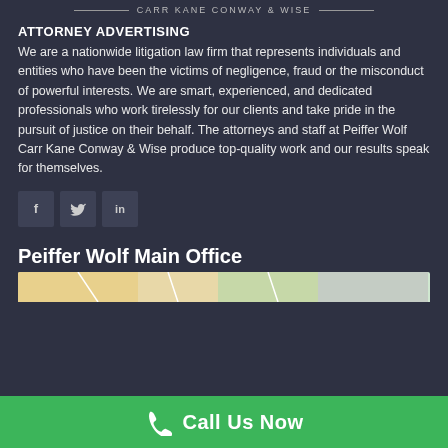CARR KANE CONWAY & WISE
ATTORNEY ADVERTISING
We are a nationwide litigation law firm that represents individuals and entities who have been the victims of negligence, fraud or the misconduct of powerful interests. We are smart, experienced, and dedicated professionals who work tirelessly for our clients and take pride in the pursuit of justice on their behalf. The attorneys and staff at Peiffer Wolf Carr Kane Conway & Wise produce top-quality work and our results speak for themselves.
[Figure (other): Social media icons: Facebook (f), Twitter (bird), LinkedIn (in)]
Peiffer Wolf Main Office
[Figure (map): Map thumbnail showing the location of Peiffer Wolf Main Office]
Call Us Now